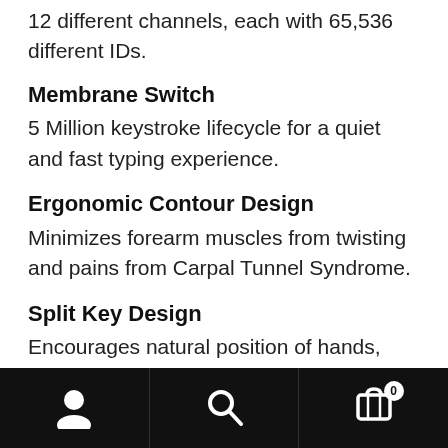Works up to 30 feet of wireless distance. Operates on 12 different channels, each with 65,536 different IDs.
Membrane Switch
5 Million keystroke lifecycle for a quiet and fast typing experience.
Ergonomic Contour Design
Minimizes forearm muscles from twisting and pains from Carpal Tunnel Syndrome.
Split Key Design
Encourages natural position of hands, wrists and forearms for maximum comfort.
Integrated Palm Rest
Keeps your wrists in the most comfortable position.
Built-In Scroll Wheel
Provides convenience for office applications or web browsing.
Navigation bar with user, search, and cart (0) icons